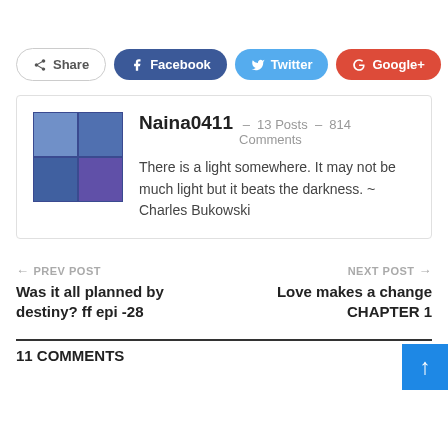Share | Facebook | Twitter | Google+ | +
[Figure (photo): Author profile photo grid showing 4 images of Naina0411]
Naina0411  –  13 Posts  –  814 Comments
There is a light somewhere. It may not be much light but it beats the darkness. ~ Charles Bukowski
← PREV POST
Was it all planned by destiny? ff epi -28
NEXT POST →
Love makes a change CHAPTER 1
11 COMMENTS